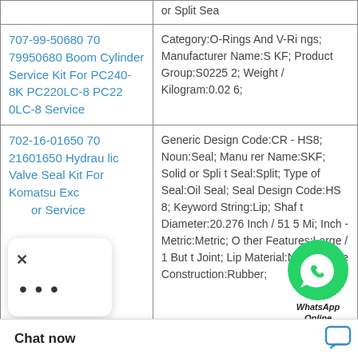| Product | Details |
| --- | --- |
| or Split Sea |  |
| 707-99-50680 7079950680 Boom Cylinder Service Kit For PC240-8K PC220LC-8 PC220LC-8 Service | Category:O-Rings And V-Rings; Manufacturer Name:SKF; Product Group:S02252; Weight / Kilogram:0.026; |
| 702-16-01650 7021601650 Hydraulic Valve Seal Kit For Komatsu Exc or Service | Generic Design Code:CR - HS8; Noun:Seal; Manufacturer Name:SKF; Solid or Spli t Seal:Split; Type of Seal:Oil Seal; Seal Design Code:HS8; Keyword String:Lip; Shaft Diameter:20.276 Inch / 515 Mi; Inch - Metric:Metric; Other Features:Large / 1 Butt Joint; Lip Material:Nitrile; Case Construction:Rubber; |
[Figure (other): WhatsApp Online chat bubble overlay with green circle icon and WhatsApp Online label]
Chat now
tric:Inch; Keyword